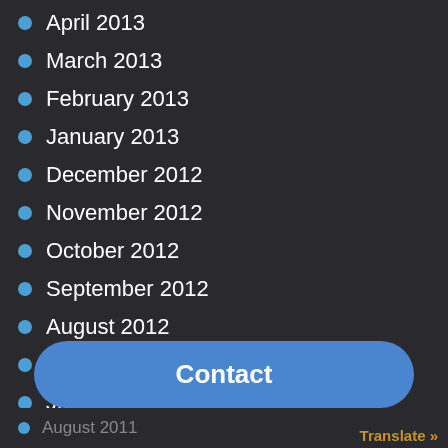April 2013
March 2013
February 2013
January 2013
December 2012
November 2012
October 2012
September 2012
August 2012
July 2012
June 2012
April 2012
January 2012
Contact
August 2011  Translate »